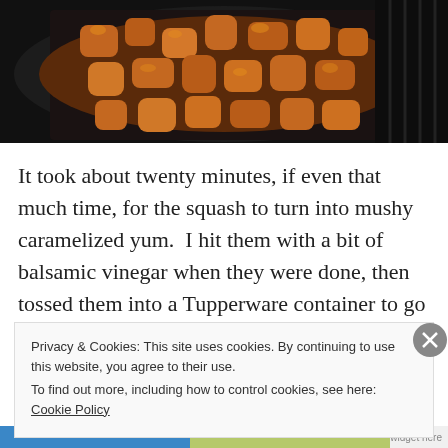[Figure (photo): A dark pan on a stove containing caramelized squash chunks in a reddish-brown sauce, photographed from above.]
It took about twenty minutes, if even that much time, for the squash to turn into mushy caramelized yum.  I hit them with a bit of balsamic vinegar when they were done, then tossed them into a Tupperware container to go over to the gathering and feed the people.  The
Privacy & Cookies: This site uses cookies. By continuing to use this website, you agree to their use.
To find out more, including how to control cookies, see here: Cookie Policy
Close and accept